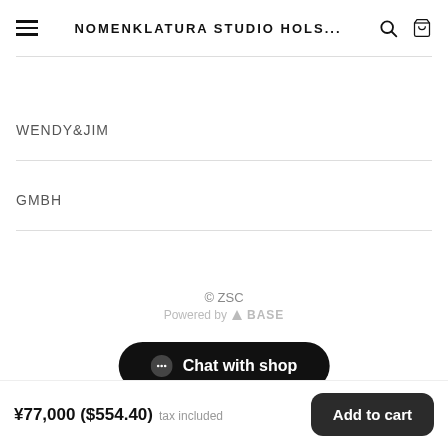NOMENKLATURA STUDIO HOLS...
WENDY&JIM
GMBH
© ZSC
Powered by ▲BASE
Chat with shop
¥77,000 ($554.40) tax included
Add to cart